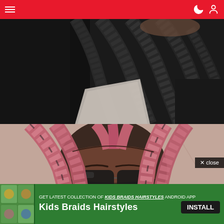Navigation bar with hamburger menu and user/dark-mode icons
[Figure (photo): Close-up photo of dark black box braids on a person wearing a black top, photographed from above/behind]
[Figure (photo): Close-up photo of pink and dark braids worn by a person with sunglasses, against a pink wall background]
× close
GET LATEST COLLECTION OF KIDS BRAIDS HAIRSTYLES ANDROID APP
Kids Braids Hairstyles INSTALL